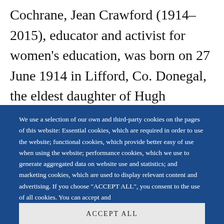Cochrane, Jean Crawford (1914–2015), educator and activist for women's education, was born on 27 June 1914 in Lifford, Co. Donegal, the eldest daughter of Hugh Crawford Cochrane, a
We use a selection of our own and third-party cookies on the pages of this website: Essential cookies, which are required in order to use the website; functional cookies, which provide better easy of use when using the website; performance cookies, which we use to generate aggregated data on website use and statistics; and marketing cookies, which are used to display relevant content and advertising. If you choose "ACCEPT ALL", you consent to the use of all cookies. You can accept and
ACCEPT ALL